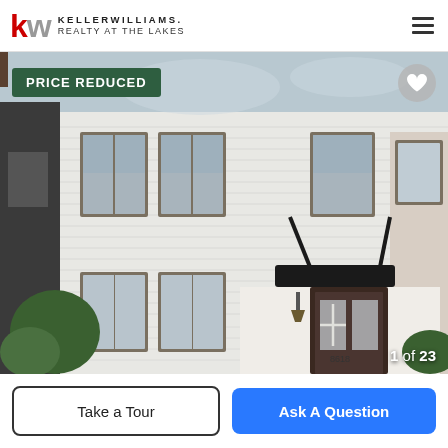[Figure (logo): Keller Williams Realty At The Lakes logo with red KW initials]
[Figure (photo): Front exterior of a modern two-story townhouse with white siding, dark trim windows, a black metal awning over the front door with house number 8618, and green landscaping. A 'PRICE REDUCED' badge overlays the top-left corner and a heart icon appears top-right. Photo counter shows '1 of 23'.]
Take a Tour
Ask A Question